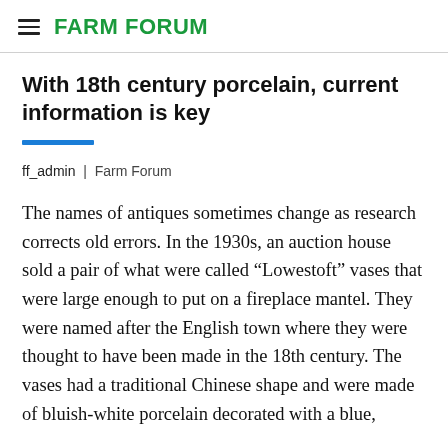FARM FORUM
With 18th century porcelain, current information is key
ff_admin | Farm Forum
The names of antiques sometimes change as research corrects old errors. In the 1930s, an auction house sold a pair of what were called “Lowestoft” vases that were large enough to put on a fireplace mantel. They were named after the English town where they were thought to have been made in the 18th century. The vases had a traditional Chinese shape and were made of bluish-white porcelain decorated with a blue,